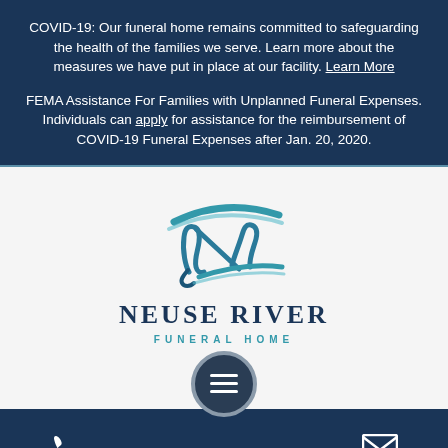COVID-19: Our funeral home remains committed to safeguarding the health of the families we serve. Learn more about the measures we have put in place at our facility. Learn More
FEMA Assistance For Families with Unplanned Funeral Expenses. Individuals can apply for assistance for the reimbursement of COVID-19 Funeral Expenses after Jan. 20, 2020.
[Figure (logo): Neuse River Funeral Home logo with stylized N letterform in teal/blue and company name text]
[Figure (other): Dark navy hamburger menu button circle with three white horizontal lines, overlapping the white and dark sections]
[Figure (other): Bottom navigation bar with phone icon on left and mail/envelope icon on right on dark navy background]